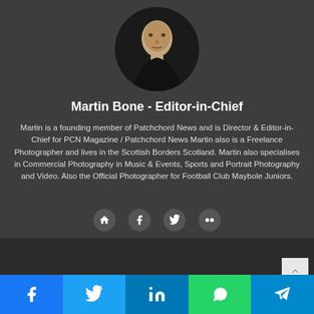[Figure (photo): Circular profile photo of Martin Bone, a bald man in a black shirt against a dark background]
Martin Bone - Editor-in-Chief
Martin is a founding member of Patchchord News and is Director & Editor-in-Chief for PCN Magazine / Patchchord News Martin also is a Freelance Photographer and lives in the Scottish Borders Scotland. Martin also specialises in Commercial Photography in Music & Events, Sports and Portrait Photography and Video. Also the Official Photographer for Football Club Maybole Juniors.
[Figure (infographic): Row of four social media icon circles: home/website icon, Facebook icon, Twitter icon, Flickr icon]
[Figure (infographic): Social sharing bar at the bottom with Facebook (blue), Twitter (light blue), LinkedIn (dark blue), WhatsApp (green), and Telegram (blue) buttons]